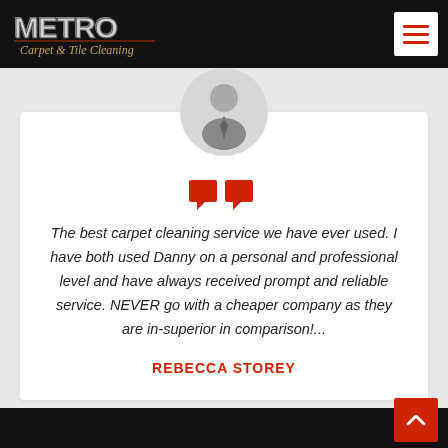[Figure (logo): Metro Carpet & Tile Cleaning logo in white/gold on dark background]
[Figure (illustration): Generic gray avatar/person silhouette in a circular frame]
[Figure (other): Red quotation mark icons (two red blocks forming opening quotation marks)]
The best carpet cleaning service we have ever used. I have both used Danny on a personal and professional level and have always received prompt and reliable service. NEVER go with a cheaper company as they are in-superior in comparison!...
REBECCA STOREY